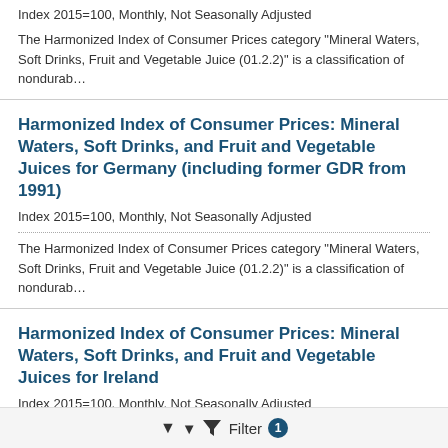Index 2015=100, Monthly, Not Seasonally Adjusted
The Harmonized Index of Consumer Prices category "Mineral Waters, Soft Drinks, Fruit and Vegetable Juice (01.2.2)" is a classification of nondurab...
Harmonized Index of Consumer Prices: Mineral Waters, Soft Drinks, and Fruit and Vegetable Juices for Germany (including former GDR from 1991)
Index 2015=100, Monthly, Not Seasonally Adjusted
The Harmonized Index of Consumer Prices category "Mineral Waters, Soft Drinks, Fruit and Vegetable Juice (01.2.2)" is a classification of nondurab...
Harmonized Index of Consumer Prices: Mineral Waters, Soft Drinks, and Fruit and Vegetable Juices for Ireland
Index 2015=100, Monthly, Not Seasonally Adjusted
The Harmonized Index of Consumer Prices category "Mineral Waters, Soft Drinks, Fruit and Vegetable Juice (01.2.2)" is a classification of nondurab...
Filter 1